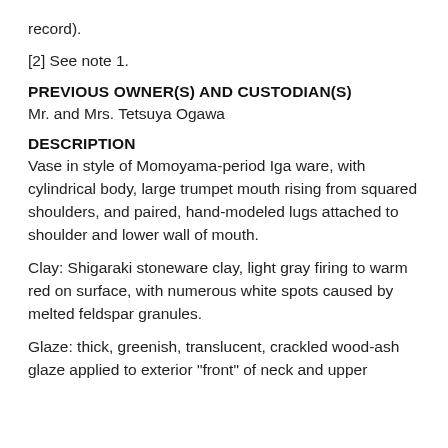record).
[2] See note 1.
PREVIOUS OWNER(S) AND CUSTODIAN(S)
Mr. and Mrs. Tetsuya Ogawa
DESCRIPTION
Vase in style of Momoyama-period Iga ware, with cylindrical body, large trumpet mouth rising from squared shoulders, and paired, hand-modeled lugs attached to shoulder and lower wall of mouth.
Clay: Shigaraki stoneware clay, light gray firing to warm red on surface, with numerous white spots caused by melted feldspar granules.
Glaze: thick, greenish, translucent, crackled wood-ash glaze applied to exterior "front" of neck and upper